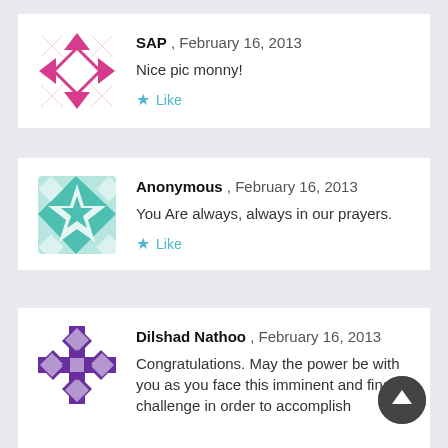SAP , February 16, 2013
Nice pic monny!
Like
Anonymous , February 16, 2013
You Are always, always in our prayers.
Like
Dilshad Nathoo , February 16, 2013
Congratulations. May the power be with you as you face this imminent and final challenge in order to accomplish